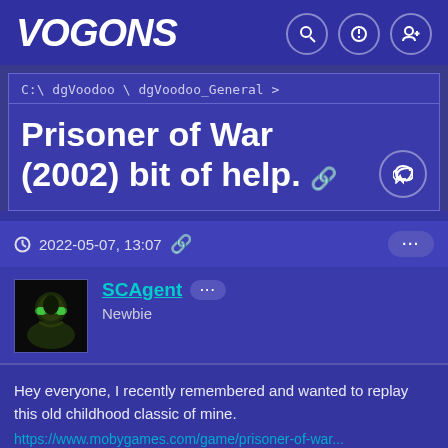VOGONS
C:\dgVoodoo \ dgVoodoo_General >
Prisoner of War (2002) bit of help.
2022-05-07, 13:07
SCAgent
Newbie
Hey everyone, I recently remembered and wanted to replay this old childhood classic of mine.
https://www.mobygames.com/game/prisoner-of-war...